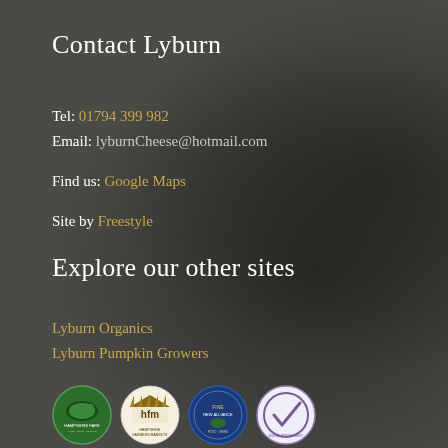Contact Lyburn
Tel: 01794 399 982
Email: lyburnCheese@hotmail.com
Find us: Google Maps
Site by Freestyle
Explore our other sites
Lyburn Organics
Lyburn Pumpkin Growers
[Figure (logo): Four certification/affiliation logos: Hampshire Fare, hfm Hampshire Farmers Markets, Fine New Alliance, BSCA Approved]